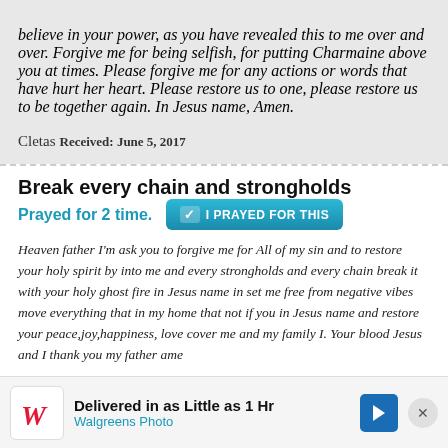believe in your power, as you have revealed this to me over and over. Forgive me for being selfish, for putting Charmaine above you at times. Please forgive me for any actions or words that have hurt her heart. Please restore us to one, please restore us to be together again. In Jesus name, Amen.
Cletas   Received: June 5, 2017
Break every chain and strongholds
Prayed for 2 time.
✓ I PRAYED FOR THIS
Heaven father I'm ask you to forgive me for All of my sin and to restore your holy spirit by into me and every strongholds and every chain break it with your holy ghost fire in Jesus name in set me free from negative vibes move everything that in my home that not if you in Jesus name and restore your peace,joy,happiness, love cover me and my family I. Your blood Jesus and I thank you my father ame
Angie   Received: June 1, 2017
Thank you ABBA Father for your unconditional Love
Delivered in as Little as 1 Hr
Walgreens Photo